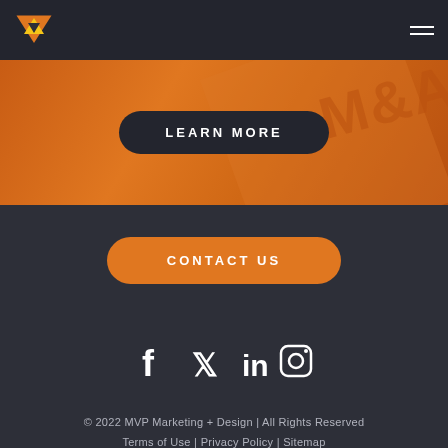[Figure (logo): MVP Marketing + Design logo — orange/yellow triangle pointing down]
[Figure (illustration): Hamburger menu icon (two horizontal white lines) in top right corner]
[Figure (illustration): Orange diagonal banner section with LEARN MORE button and M&A text partially visible]
CONTACT US
[Figure (illustration): Social media icons row: Facebook, Twitter, LinkedIn, Instagram]
© 2022 MVP Marketing + Design | All Rights Reserved
Terms of Use  |  Privacy Policy  |  Sitemap